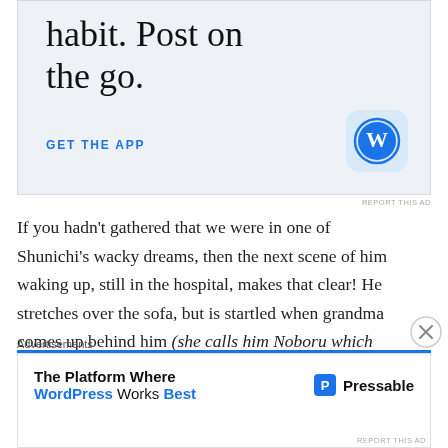[Figure (screenshot): WordPress app advertisement banner with text 'habit. Post on the go.' and 'GET THE APP' call-to-action button, WordPress logo icon on right side]
REPORT THIS AD
If you hadn't gathered that we were in one of Shunichi's wacky dreams, then the next scene of him waking up, still in the hospital, makes that clear! He stretches over the sofa, but is startled when grandma comes up behind him (she calls him Noboru which really worries me still). Grandma seems to understand somehow that he was looking for the one-inch princess and takes him back to
[Figure (screenshot): Bottom advertisement for Pressable - 'The Platform Where WordPress Works Best']